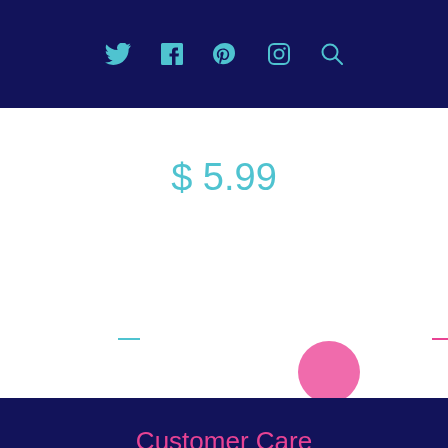Social media icons: Twitter, Facebook, Pinterest, Instagram, Search
$ 5.99
[Figure (illustration): Decorative dashes and colorful circles/half-circles: cyan dash on left, pink dash in center, pink circle bottom-center, yellow circle bottom-right, cyan half-circle top-right]
Customer Care
Terms of Use
Search
Supplies We Love
Create An Account
FAQ